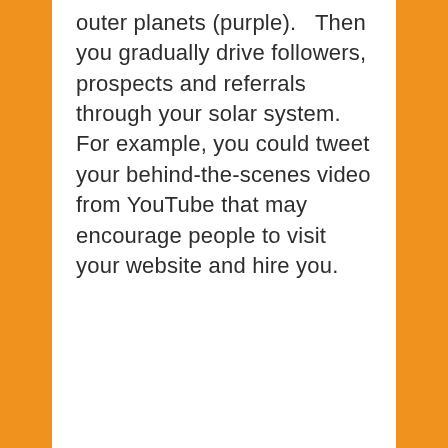outer planets (purple).   Then you gradually drive followers, prospects and referrals through your solar system.   For example, you could tweet your behind-the-scenes video from YouTube that may encourage people to visit your website and hire you.